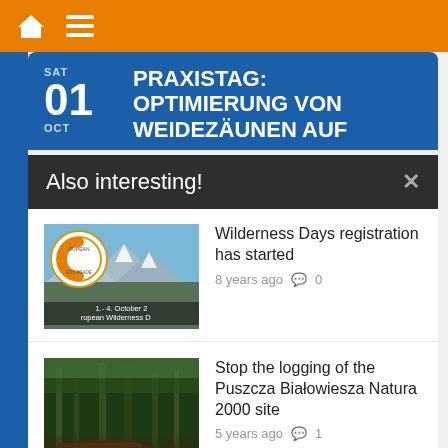[Figure (screenshot): Mobile website screenshot showing navigation bar with home and menu icons on orange background, a blue event card for 'PRAXISTAG: OPTIMIERUNG VON WEIDEZÄUNEN AUF' on SAT 01 OCT, a dark modal panel saying 'Also interesting!' with close button, and two article cards: 'Wilderness Days registration has started' (8 years ago, 0 comments) and 'Stop the logging of the Puszcza Białowiesza Natura 2000 site' (5 years ago, 1 comment). Green chevron scroll-to-top in bottom right.]